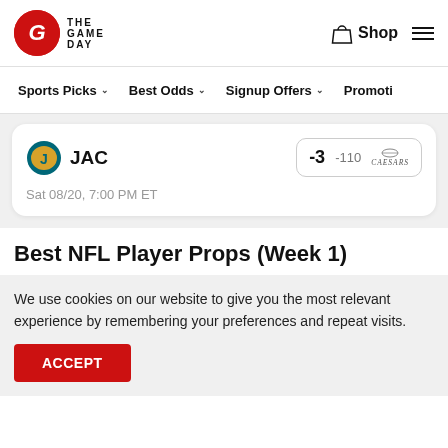THE GAME DAY — Shop (navigation header)
Sports Picks | Best Odds | Signup Offers | Promotions
JAC  -3  -110  Caesars | Sat 08/20, 7:00 PM ET
Best NFL Player Props (Week 1)
We use cookies on our website to give you the most relevant experience by remembering your preferences and repeat visits.
ACCEPT